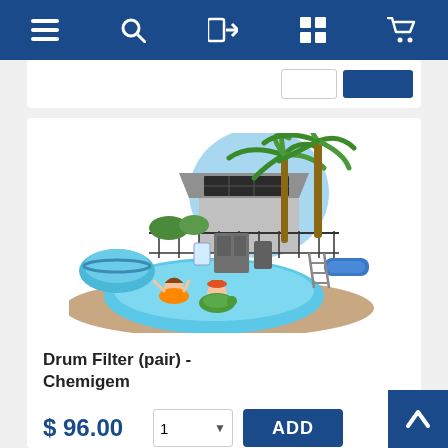Navigation bar with menu, search, login, grid, and cart icons
[Figure (screenshot): Partial product card at top showing quantity selector and add button]
[Figure (illustration): Cartoon illustration of a backyard swimming pool scene with children swimming, palm trees, a house with solar panels, and pool equipment]
Drum Filter (pair) - Chemigem
$ 96.00
1  ADD